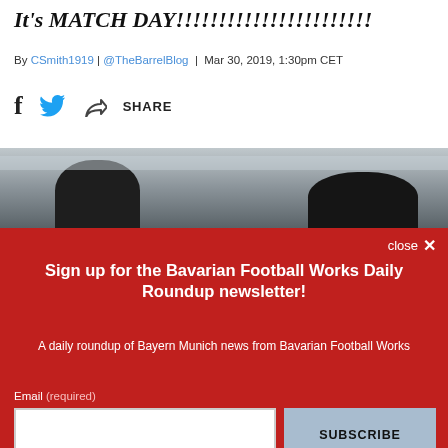It's MATCH DAY!!!!!!!!!!!!!!!!!!!!!!!
By CSmith1919 | @TheBarrelBlog | Mar 30, 2019, 1:30pm CET
[Figure (other): Social share icons: Facebook, Twitter, and share arrow with SHARE label]
[Figure (photo): Photo strip showing people/spectators from behind, partially obscured by modal overlay]
close ×
Sign up for the Bavarian Football Works Daily Roundup newsletter!
A daily roundup of Bayern Munich news from Bavarian Football Works
Email (required)
SUBSCRIBE
By submitting your email, you agree to our Terms and Privacy Notice. You can opt out at any time. This site is protected by reCAPTCHA and the Google Privacy Policy and Terms of Service apply.